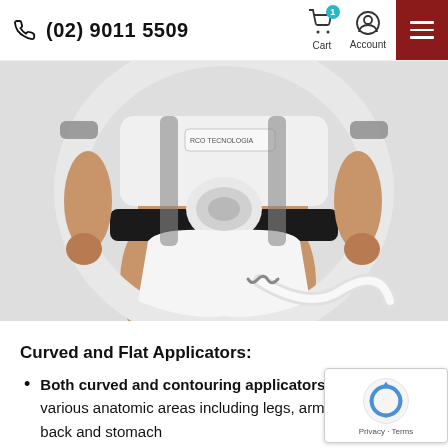(02) 9011 5509 | Cart (1) | Account
[Figure (photo): A medical body contouring device with white and black applicators strapped to a mannequin torso, showing the pelvic/abdomen area with white briefs and curved/flat applicators and tubing. The device has an RCO branding label visible at top.]
Curved and Flat Applicators:
Both curved and contouring applicators for use on various anatomic areas including legs, arms, abdomen, back and stomach